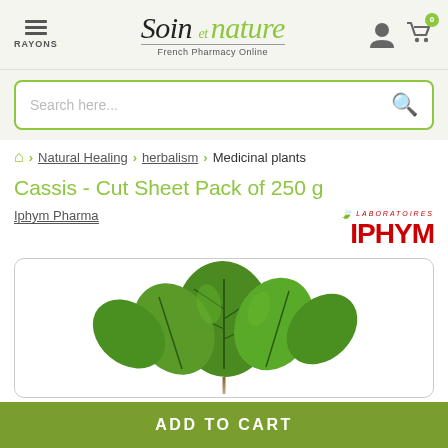[Figure (screenshot): Soin et nature French Pharmacy Online website header with hamburger menu, logo, user icon and cart icon]
Search here...
Natural Healing > herbalism > Medicinal plants
Cassis - Cut Sheet Pack of 250 g
Iphym Pharma
[Figure (logo): Laboratoires IPHYM logo in red]
[Figure (photo): Green blackcurrant leaves product image in rounded white box]
ADD TO CART